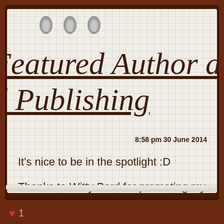Featured Author at d Publishing
8:58 pm 30 June 2014
It's nice to be in the spotlight :D
Thanks to Witty Bard for promoting my writing :D
♥ 1